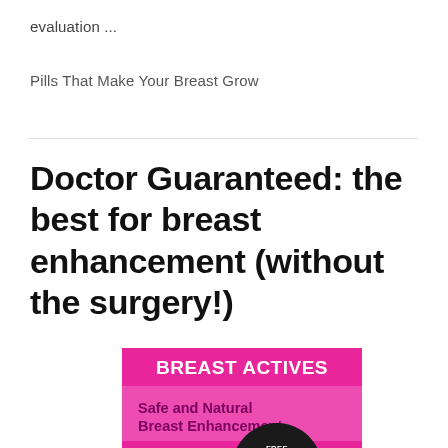evaluation ...
Pills That Make Your Breast Grow
Doctor Guaranteed: the best for breast enhancement (without the surgery!)
[Figure (advertisement): Pink advertisement for Breast Actives supplement. White bold text 'BREAST ACTIVES' on pink background. Dark pink bold text 'Safe and Natural Breast Enhancement'. Black circular badge with 'FREE BOTTLE OFFER'. Text 'ENHANCE YOUR BREAST WITHOUT SURGERY'. White supplement bottle on right side.]